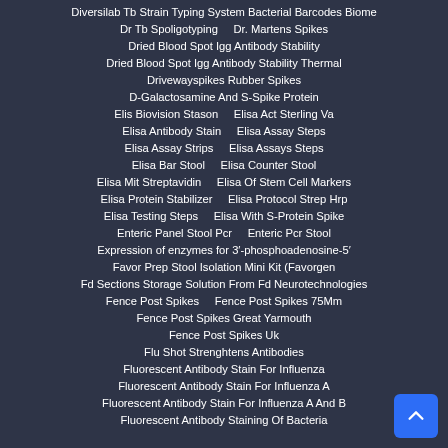Diversilab Tb Strain Typing System Bacterial Barcodes Biome
Dr Tb Spoligotyping    Dr. Martens Spikes
Dried Blood Spot Igg Antibody Stability
Dried Blood Spot Igg Antibody Stability Thermal
Drivewayspikes Rubber Spikes
D-Galactosamine And S-Spike Protein
Elis Biovision Stason    Elisa Act Sterling Va
Elisa Antibody Stain    Elisa Assay Steps
Elisa Assay Strips    Elisa Assays Steps
Elisa Bar Stool    Elisa Counter Stool
Elisa Mit Streptavidin    Elisa Of Stem Cell Markers
Elisa Protein Stabilizer    Elisa Protocol Strep Hrp
Elisa Testing Steps    Elisa With S-Protein Spike
Enteric Panel Stool Pcr    Enteric Pcr Stool
Expression of enzymes for 3′-phosphoadenosine-5′
Favor Prep Stool Isolation Mini Kit (Favorgen
Fd Sections Storage Solution From Fd Neurotechnologies
Fence Post Spikes    Fence Post Spikes 75Mm
Fence Post Spikes Great Yarmouth
Fence Post Spikes Uk
Flu Shot Strenghtens Antibodies
Fluorescent Antibody Stain For Influenza
Fluorescent Antibody Stain For Influenza A
Fluorescent Antibody Stain For Influenza A And B
Fluorescent Antibody Staining Of Bacteria